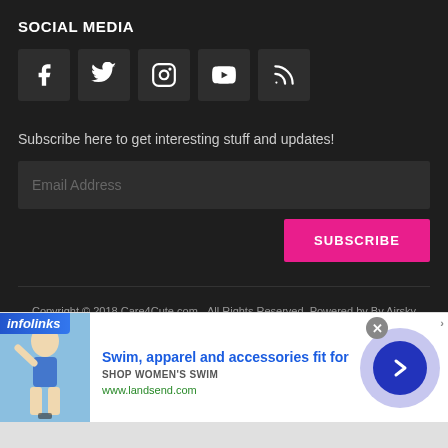SOCIAL MEDIA
[Figure (illustration): Row of social media icon buttons: Facebook, Twitter, Instagram, YouTube, RSS]
Subscribe here to get interesting stuff and updates!
[Figure (screenshot): Email Address input field and SUBSCRIBE button]
Copyright © 2018 Care4Cute.com - All Rights Reserved. Powered by By Airsky Cloud Network.
[Figure (infographic): Advertisement banner: infolinks tab, photo of woman in swimwear, text 'Swim, apparel and accessories fit for', 'SHOP WOMEN'S SWIM', 'www.landsend.com', close button, arrow circle button]